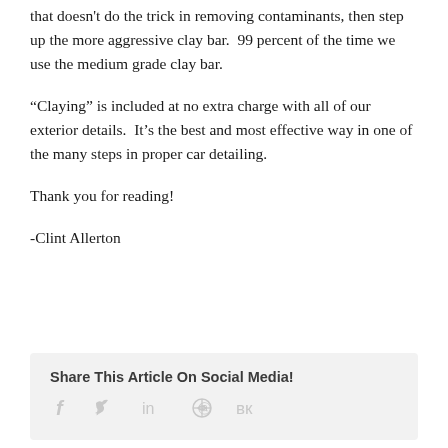that doesn't do the trick in removing contaminants, then step up the more aggressive clay bar.  99 percent of the time we use the medium grade clay bar.
“Claying” is included at no extra charge with all of our exterior details.  It’s the best and most effective way in one of the many steps in proper car detailing.
Thank you for reading!
-Clint Allerton
Share This Article On Social Media!